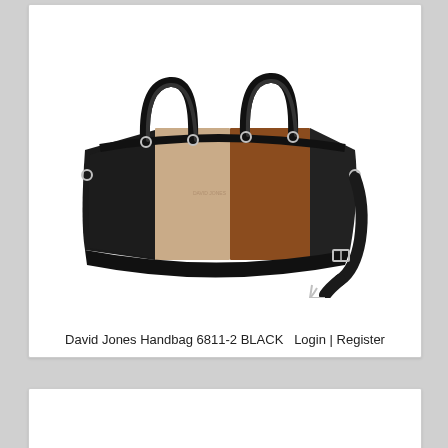[Figure (photo): A David Jones handbag model 6811-2 in BLACK colorway. The structured tote-style handbag features three vertical color panels: black on the left, beige/tan in the center, and brown on the right. It has two black top handles with silver hardware and a removable black crossbody strap with silver buckle shown to the right.]
David Jones Handbag 6811-2 BLACK  Login | Register